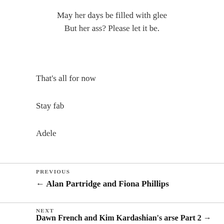May her days be filled with glee
But her ass? Please let it be.
That's all for now
Stay fab
Adele
PREVIOUS
← Alan Partridge and Fiona Phillips
NEXT
Dawn French and Kim Kardashian's arse Part 2 →